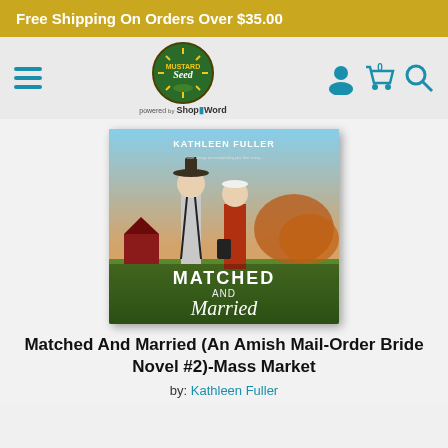Free Shipping On Orders Over $35.00
[Figure (logo): Mustard Seed store logo — green circular badge with 'Mustard Seed' text and sunburst, powered by ShopByWord]
[Figure (photo): Book cover of 'Matched and Married (An Amish Mail-Order Bride Novel #2)' by Kathleen Fuller — shows Amish man and woman standing in a field, title text 'MATCHED AND Married' overlaid]
Matched And Married (An Amish Mail-Order Bride Novel #2)-Mass Market
by: Kathleen Fuller